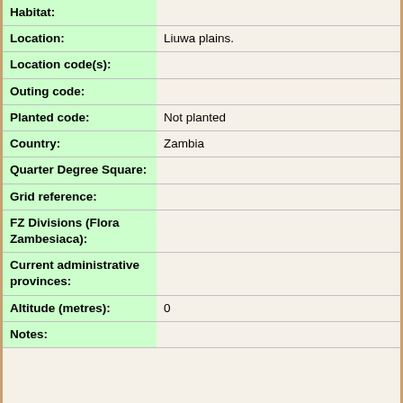| Field | Value |
| --- | --- |
| Habitat: |  |
| Location: | Liuwa plains. |
| Location code(s): |  |
| Outing code: |  |
| Planted code: | Not planted |
| Country: | Zambia |
| Quarter Degree Square: |  |
| Grid reference: |  |
| FZ Divisions (Flora Zambesiaca): |  |
| Current administrative provinces: |  |
| Altitude (metres): | 0 |
| Notes: |  |